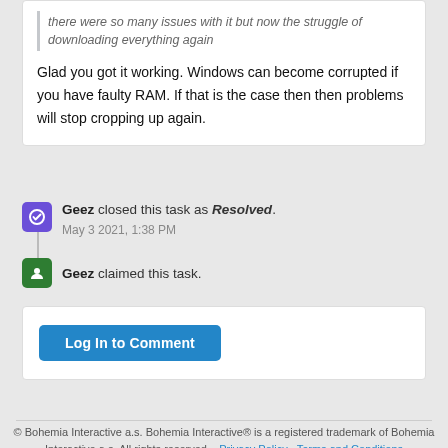there were so many issues with it but now the struggle of downloading everything again
Glad you got it working. Windows can become corrupted if you have faulty RAM. If that is the case then then problems will stop cropping up again.
Geez closed this task as Resolved. May 3 2021, 1:38 PM
Geez claimed this task.
Log In to Comment
© Bohemia Interactive a.s. Bohemia Interactive® is a registered trademark of Bohemia Interactive a.s. All rights reserved. · Privacy Policy · Terms and Conditions